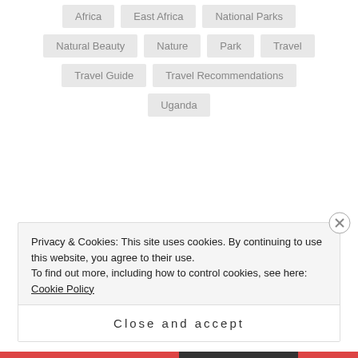Africa
East Africa
National Parks
Natural Beauty
Nature
Park
Travel
Travel Guide
Travel Recommendations
Uganda
PREVIOUS POST
How to Support Black-Owned Food Businesses
Privacy & Cookies: This site uses cookies. By continuing to use this website, you agree to their use.
To find out more, including how to control cookies, see here: Cookie Policy
Close and accept